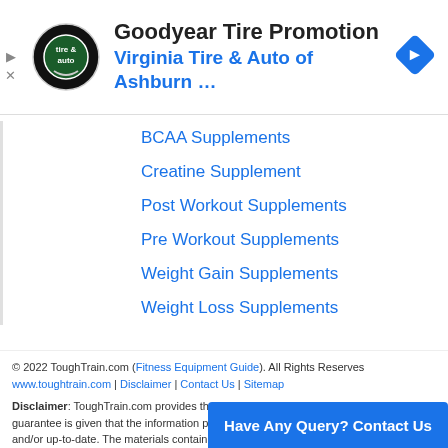[Figure (screenshot): Goodyear Tire Promotion advertisement banner for Virginia Tire & Auto of Ashburn with logo and navigation arrow icon]
BCAA Supplements
Creatine Supplement
Post Workout Supplements
Pre Workout Supplements
Weight Gain Supplements
Weight Loss Supplements
© 2022 ToughTrain.com (Fitness Equipment Guide). All Rights Reserves www.toughtrain.com | Disclaimer | Contact Us | Sitemap
Disclaimer: ToughTrain.com provides the information which is periodically updated, no guarantee is given that the information provided in this website is correct, complete, and/or up-to-date. The materials contained on this website are provided for general information purposes only and do not constitute legal or other professional advice on any subject matter. ToughTrain... any loss which may arise from reliance...
Have Any Query? Contact Us